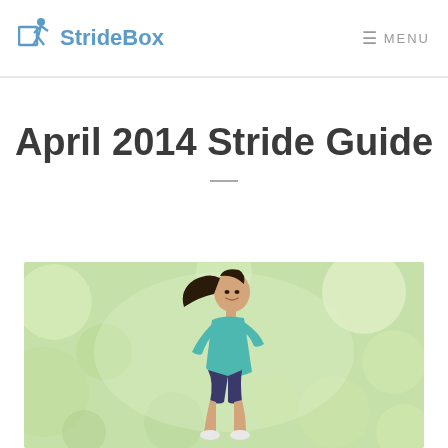StrideBox  MENU
April 2014 Stride Guide
[Figure (photo): Woman running outdoors with blurred green bokeh background, wearing a teal athletic top, hair flowing behind her, smiling.]